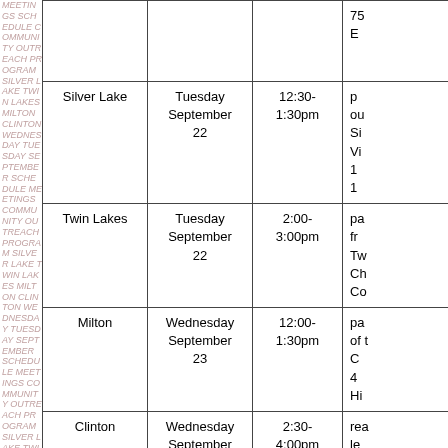| Location | Day | Time | Information |
| --- | --- | --- | --- |
|  |  |  | 75... |
| Silver Lake | Tuesday September 22 | 12:30-1:30pm | ...ou... Si... Vi... 1... 1... |
| Twin Lakes | Tuesday September 22 | 2:00-3:00pm | ...pa... fr... Tw... Ch... Co... |
| Milton | Wednesday September 23 | 12:00-1:30pm | pa... of t... C... 4... Hi... |
| Clinton | Wednesday September 23 | 2:30-4:00pm | rea... le... Vi... 3... |